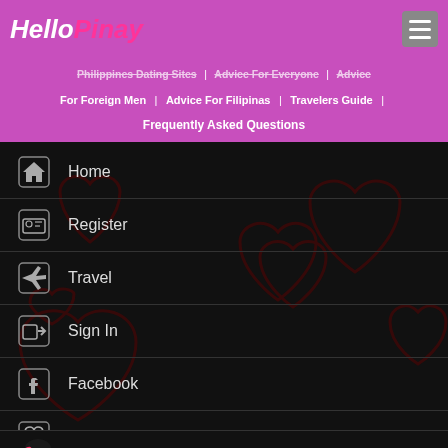Hello Pinay
Philippines Dating Sites | Advice For Everyone | Advice For Foreign Men | Advice For Filipinas | Travelers Guide | Frequently Asked Questions
Home
Register
Travel
Sign In
Facebook
Content Providers
Emoji icons supplied by JoyPixels